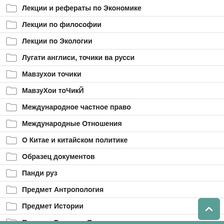Лекции и рефераты по Экономике
Лекции по философии
Лекции по Экологии
Лугати англиси, точики ва русси
Мавзухои точики
МавзуХои тоЧикЙ
Международное частное право
Международные Отношения
О Китае и китайском политике
Образец документов
Панди руз
Предмет Антропология
Предмет Истории
Предмет Русского Языка